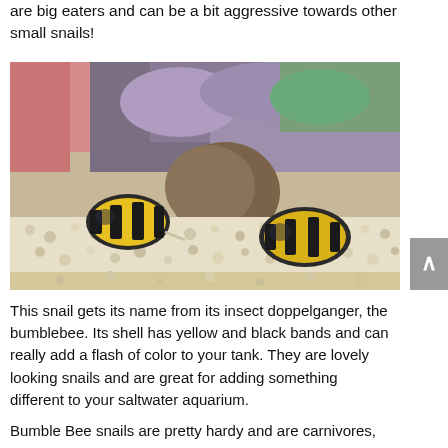are big eaters and can be a bit aggressive towards other small snails!
[Figure (photo): Two bumblebee snails with yellow and black striped shells on a white gravel substrate inside an aquarium, with coral and rocks visible in the background.]
This snail gets its name from its insect doppelganger, the bumblebee. Its shell has yellow and black bands and can really add a flash of color to your tank. They are lovely looking snails and are great for adding something different to your saltwater aquarium.
Bumble Bee snails are pretty hardy and are carnivores,